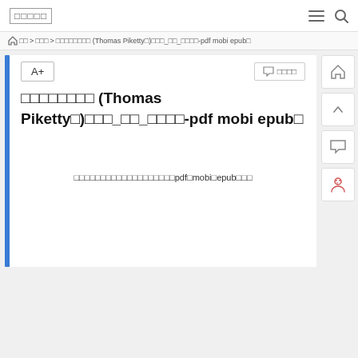□□□□□
⌂ □□ > □□□ > □□□□□□□□ (Thomas Piketty□)□□□_□□_□□□□-pdf mobi epub□
□□□□□□□□ (Thomas Piketty□)□□□_□□_□□□□-pdf mobi epub□
□□□□□□□□□□□□□□□□□□□pdf□mobi□epub□□□